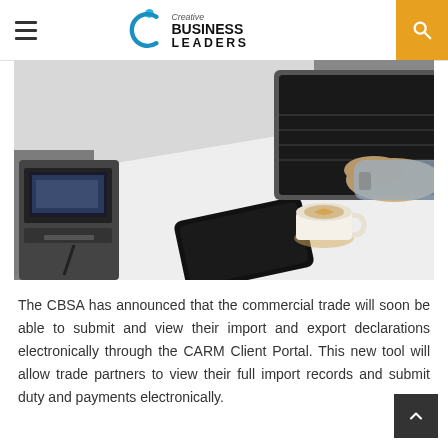Creative Business Leaders
[Figure (photo): Overhead view of a person typing on a laptop at a white desk with a coffee cup and a smartphone nearby, and a printer/device on the left side.]
The CBSA has announced that the commercial trade will soon be able to submit and view their import and export declarations electronically through the CARM Client Portal. This new tool will allow trade partners to view their full import records and submit duty and payments electronically.